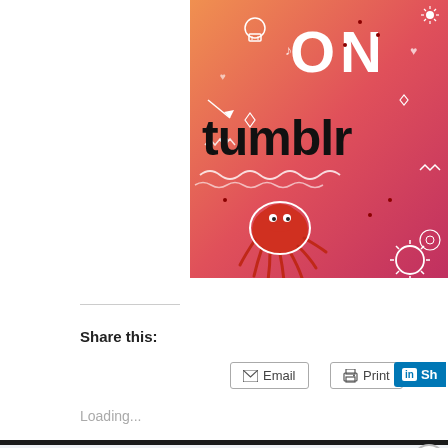[Figure (illustration): Tumblr promotional banner with orange-to-pink gradient background, decorative white doodles (skull, hearts, music notes, sun, squid/octopus creature, zigzag lines), large white text 'ON' and dark bold text 'tumblr']
Share this:
[Figure (screenshot): Email share button with envelope icon]
[Figure (screenshot): Print share button with printer icon]
[Figure (screenshot): LinkedIn Share button (partially cropped)]
Loading...
About David Blaska
Advertisements
[Figure (screenshot): Advertisement banner: dark background with tree/person icon in circle, teal text 'Launch your online course with WordPress', white 'Learn More' call-to-action]